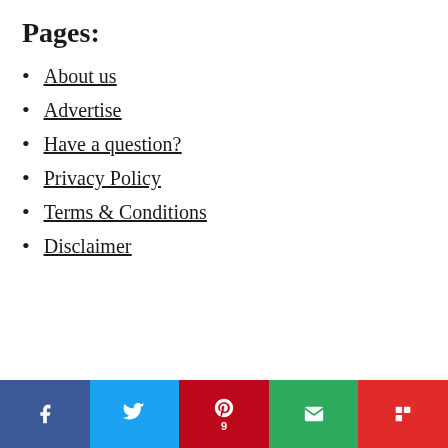Pages:
About us
Advertise
Have a question?
Privacy Policy
Terms & Conditions
Disclaimer
f  [Twitter bird]  P 9  [envelope]  [Flipboard F]